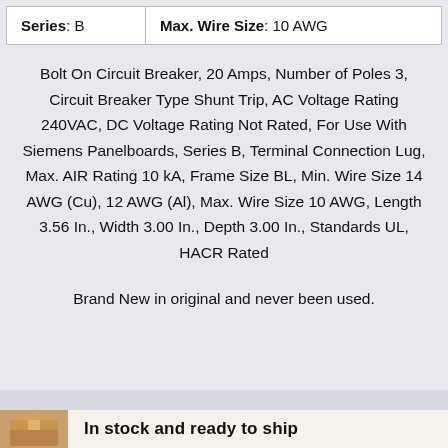| Series | Max. Wire Size |
| --- | --- |
| B | 10 AWG |
Bolt On Circuit Breaker, 20 Amps, Number of Poles 3, Circuit Breaker Type Shunt Trip, AC Voltage Rating 240VAC, DC Voltage Rating Not Rated, For Use With Siemens Panelboards, Series B, Terminal Connection Lug, Max. AIR Rating 10 kA, Frame Size BL, Min. Wire Size 14 AWG (Cu), 12 AWG (Al), Max. Wire Size 10 AWG, Length 3.56 In., Width 3.00 In., Depth 3.00 In., Standards UL, HACR Rated
Brand New in original and never been used.
In stock and ready to ship